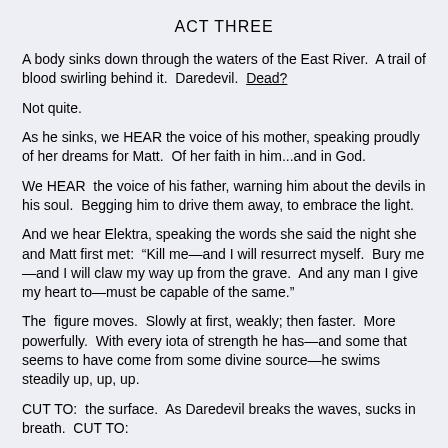ACT THREE
A body sinks down through the waters of the East River.  A trail of blood swirling behind it.  Daredevil.  Dead?
Not quite.
As he sinks, we HEAR the voice of his mother, speaking proudly of her dreams for Matt.  Of her faith in him...and in God.
We HEAR  the voice of his father, warning him about the devils in his soul.  Begging him to drive them away, to embrace the light.
And we hear Elektra, speaking the words she said the night she and Matt first met:  “Kill me—and I will resurrect myself.  Bury me—and I will claw my way up from the grave.  And any man I give my heart to—must be capable of the same.”
The  figure moves.  Slowly at first, weakly; then faster.  More powerfully.  With every iota of strength he has—and some that seems to have come from some divine source—he swims steadily up, up, up.
CUT TO:  the surface.  As Daredevil breaks the waves, sucks in breath.  CUT TO:
Hell’s Kitchen.  Deserted.  A drenched figure staggers through the streets.  He weaves, he falls, he stands up.
Every step, we see, is pain.  Every inch he walks is agony.  And finally—